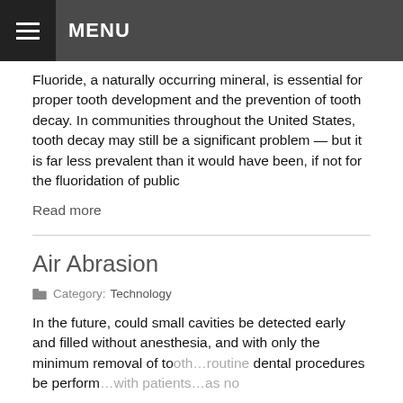MENU
Fluoride, a naturally occurring mineral, is essential for proper tooth development and the prevention of tooth decay. In communities throughout the United States, tooth decay may still be a significant problem — but it is far less prevalent than it would have been, if not for the fluoridation of public
Read more
Air Abrasion
Category: Technology
In the future, could small cavities be detected early and filled without anesthesia, and with only the minimum removal of to... routine dental procedures be perform... as no